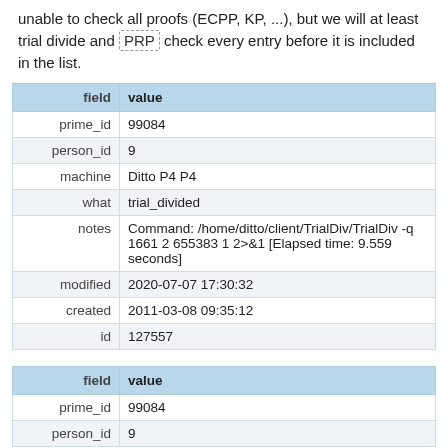unable to check all proofs (ECPP, KP, ...), but we will at least trial divide and PRP check every entry before it is included in the list.
| field | value |
| --- | --- |
| prime_id | 99084 |
| person_id | 9 |
| machine | Ditto P4 P4 |
| what | trial_divided |
| notes | Command: /home/ditto/client/TrialDiv/TrialDiv -q 1661 2 655383 1 2>&1 [Elapsed time: 9.559 seconds] |
| modified | 2020-07-07 17:30:32 |
| created | 2011-03-08 09:35:12 |
| id | 127557 |
| field | value |
| --- | --- |
| prime_id | 99084 |
| person_id | 9 |